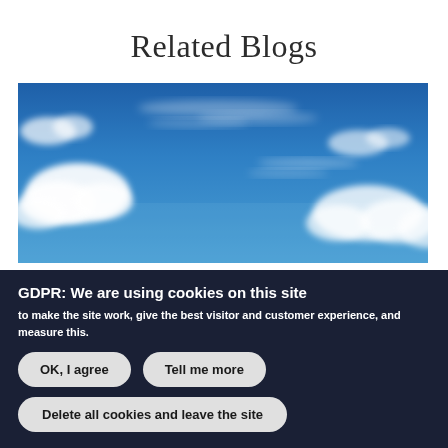Related Blogs
[Figure (photo): Blue sky with white clouds.]
GDPR: We are using cookies on this site
to make the site work, give the best visitor and customer experience, and measure this.
OK, I agree
Tell me more
Delete all cookies and leave the site